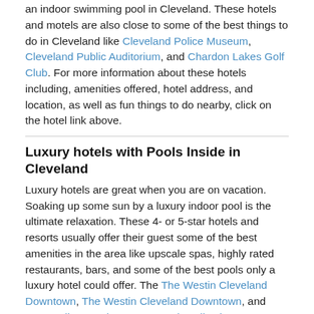an indoor swimming pool in Cleveland. These hotels and motels are also close to some of the best things to do in Cleveland like Cleveland Police Museum, Cleveland Public Auditorium, and Chardon Lakes Golf Club. For more information about these hotels including, amenities offered, hotel address, and location, as well as fun things to do nearby, click on the hotel link above.
Luxury hotels with Pools Inside in Cleveland
Luxury hotels are great when you are on vacation. Soaking up some sun by a luxury indoor pool is the ultimate relaxation. These 4- or 5-star hotels and resorts usually offer their guest some of the best amenities in the area like upscale spas, highly rated restaurants, bars, and some of the best pools only a luxury hotel could offer. The The Westin Cleveland Downtown, The Westin Cleveland Downtown, and Metropolitan at The 9, Autograph Collection are some of the best luxury hotels in Cleveland. Spending the day at one of these luxury hotel pools is a sure way to have you feeling like royalty on your vacation. Additionally, these resorts are in some of the most popular neighborhoods in Cleveland like University Circle, Downtown Cleveland, and Ohio City.
Best Rated Hotels with Pools in Cleveland